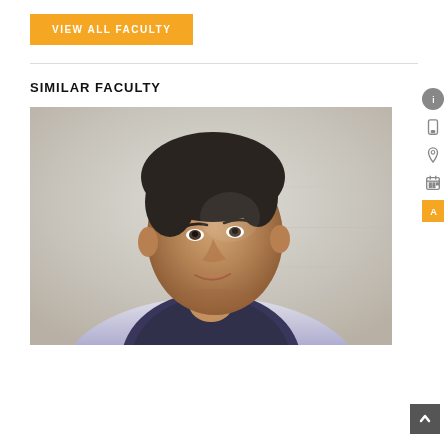VIEW ALL FACULTY
SIMILAR FACULTY
[Figure (photo): Portrait of a middle-aged man with dark hair, wearing a dark vest over a light blue shirt, looking upward, photographed against a stone/concrete wall background.]